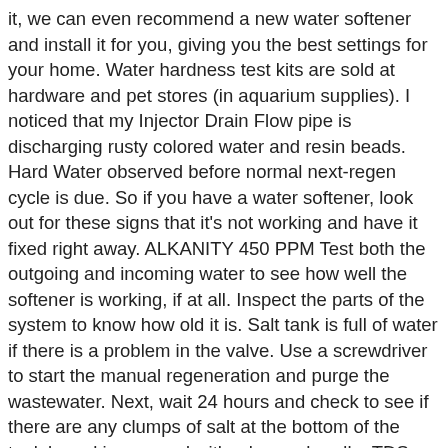it, we can even recommend a new water softener and install it for you, giving you the best settings for your home. Water hardness test kits are sold at hardware and pet stores (in aquarium supplies). I noticed that my Injector Drain Flow pipe is discharging rusty colored water and resin beads. Hard Water observed before normal next-regen cycle is due. So if you have a water softener, look out for these signs that it's not working and have it fixed right away. ALKANITY 450 PPM Test both the outgoing and incoming water to see how well the softener is working, if at all. Inspect the parts of the system to know how old it is. Salt tank is full of water if there is a problem in the valve. Use a screwdriver to start the manual regeneration and purge the wastewater. Next, wait 24 hours and check to see if there are any clumps of salt at the bottom of the tank by poking around with a broom handle. TDS 1266 PPM Jim This water softener repair article describes what to check first if the softener is not working properly. On 2020-09-23 The most common reason why your water softener will stop using salt is because of a salt bridge that has formed at the